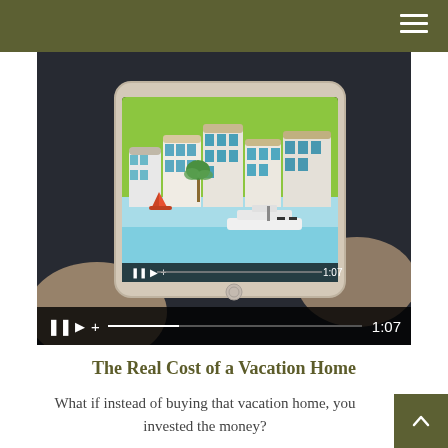[Figure (screenshot): A person holding an iPad displaying a colorful animated illustration of a waterfront vacation scene with sailboats and buildings. The video player shows playback controls at the bottom including pause, play, volume, a progress bar, and a timestamp reading 1:07.]
The Real Cost of a Vacation Home
What if instead of buying that vacation home, you invested the money?